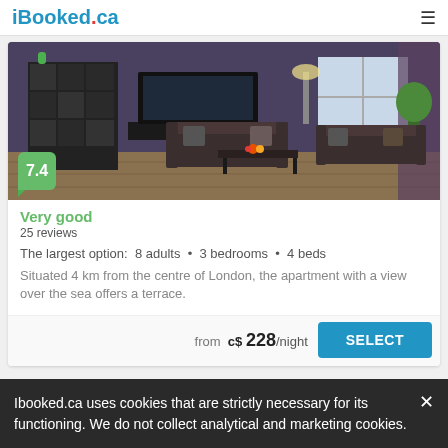iBooked.ca
[Figure (photo): Interior photo of an apartment living room with dark leather sofas, a coffee table, large TV on a dark bookshelf, and plants near windows. Score badge showing 7.4 in green.]
Very good
25 reviews
The largest option:  8 adults  •  3 bedrooms  •  4 beds
Situated 4 km from the centre of London, the apartment with a view over the sea offers a terrace.
from  c$ 228/night
SELECT
Ibooked.ca uses cookies that are strictly necessary for its functioning. We do not collect analytical and marketing cookies.